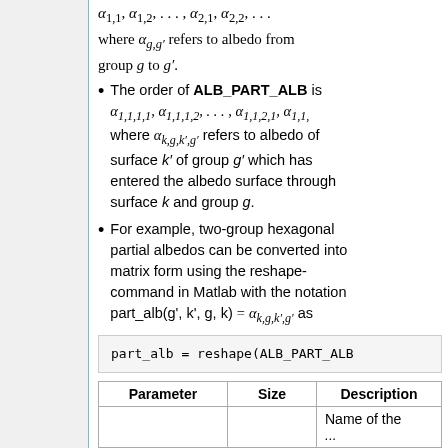α1,1, α1,2, . . . , α2,1, α2,2, . . . where α_g,g' refers to albedo from group g to g'.
The order of ALB_PART_ALB is α1,1,1,1, α1,1,1,2, . . . , α1,1,2,1, α1,1,... where α_k,g,k',g' refers to albedo of surface k' of group g' which has entered the albedo surface through surface k and group g.
For example, two-group hexagonal partial albedos can be converted into matrix form using the reshape-command in Matlab with the notation part_alb(g', k', g, k) = α_k,g,k',g' as
part_alb = reshape(ALB_PART_ALB...
| Parameter | Size | Description |
| --- | --- | --- |
|  |  | Name of the ... |